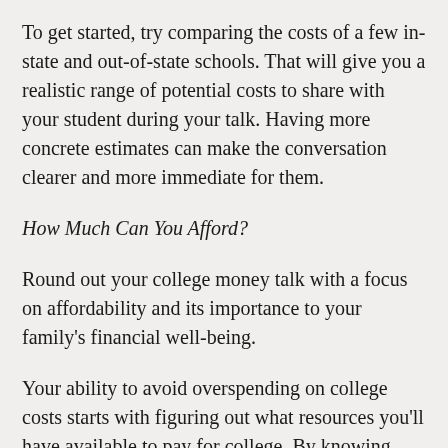To get started, try comparing the costs of a few in-state and out-of-state schools. That will give you a realistic range of potential costs to share with your student during your talk. Having more concrete estimates can make the conversation clearer and more immediate for them.
How Much Can You Afford?
Round out your college money talk with a focus on affordability and its importance to your family's financial well-being.
Your ability to avoid overspending on college costs starts with figuring out what resources you'll have available to pay for college. By knowing your college budget, your